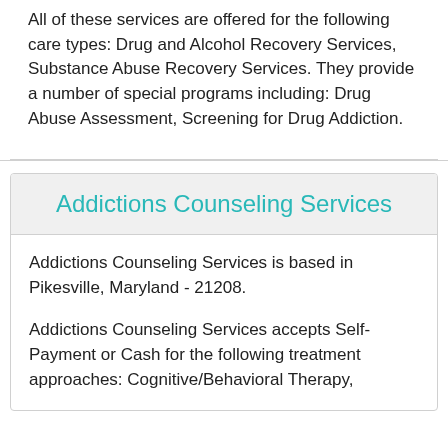All of these services are offered for the following care types: Drug and Alcohol Recovery Services, Substance Abuse Recovery Services. They provide a number of special programs including: Drug Abuse Assessment, Screening for Drug Addiction.
Addictions Counseling Services
Addictions Counseling Services is based in Pikesville, Maryland - 21208.
Addictions Counseling Services accepts Self-Payment or Cash for the following treatment approaches: Cognitive/Behavioral Therapy,